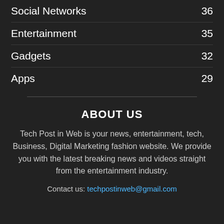Social Networks 36
Entertainment 35
Gadgets 32
Apps 29
ABOUT US
Tech Post in Web is your news, entertainment, tech, Business, Digital Marketing fashion website. We provide you with the latest breaking news and videos straight from the entertainment industry.
Contact us: techpostinweb@gmail.com